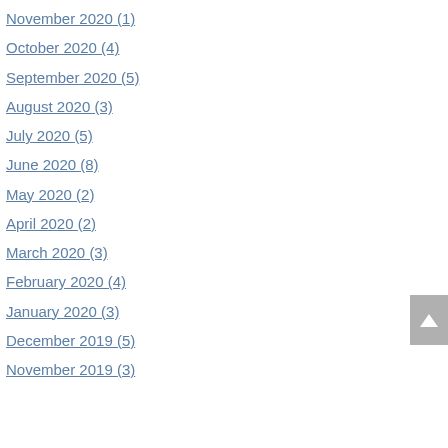November 2020 (1)
October 2020 (4)
September 2020 (5)
August 2020 (3)
July 2020 (5)
June 2020 (8)
May 2020 (2)
April 2020 (2)
March 2020 (3)
February 2020 (4)
January 2020 (3)
December 2019 (5)
November 2019 (3)